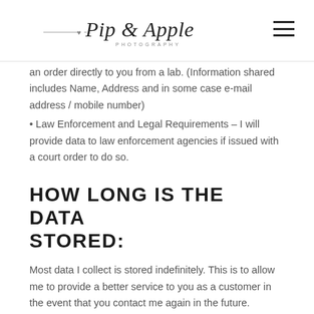Pip & Apple Photography
an order directly to you from a lab. (Information shared includes Name, Address and in some case e-mail address / mobile number)
• Law Enforcement and Legal Requirements – I will provide data to law enforcement agencies if issued with a court order to do so.
HOW LONG IS THE DATA STORED:
Most data I collect is stored indefinitely. This is to allow me to provide a better service to you as a customer in the event that you contact me again in the future.